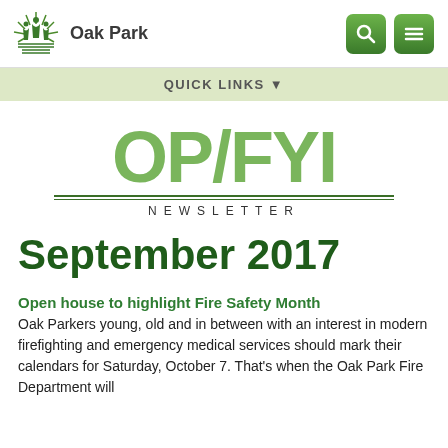Oak Park
[Figure (logo): Oak Park city logo with green tree/people graphic and 'Oak Park' text, plus green search and menu icon buttons on the right]
QUICK LINKS ▼
[Figure (logo): OP/FYI Newsletter logo in large green text with underline and 'NEWSLETTER' subtitle]
September 2017
Open house to highlight Fire Safety Month
Oak Parkers young, old and in between with an interest in modern firefighting and emergency medical services should mark their calendars for Saturday, October 7. That's when the Oak Park Fire Department will